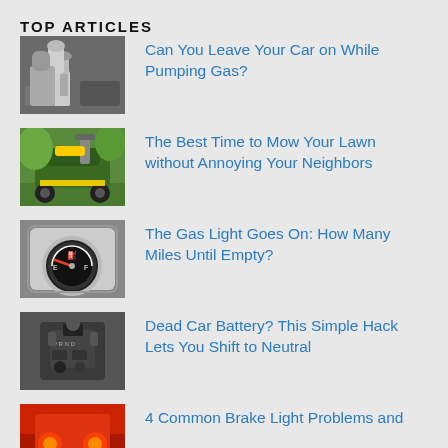TOP ARTICLES
Can You Leave Your Car on While Pumping Gas?
The Best Time to Mow Your Lawn without Annoying Your Neighbors
The Gas Light Goes On: How Many Miles Until Empty?
Dead Car Battery? This Simple Hack Lets You Shift to Neutral
4 Common Brake Light Problems and